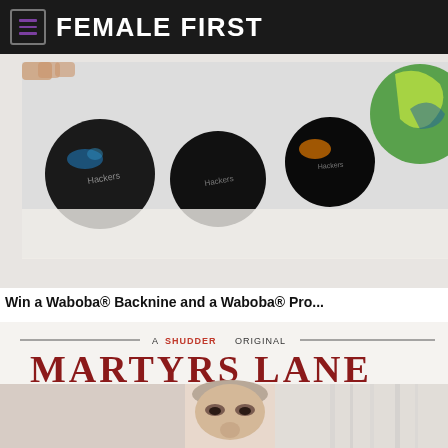FEMALE FIRST
[Figure (photo): Waboba balls on a white surface, with a colorful ball partially visible on the right]
Win a Waboba® Backnine and a Waboba® Pro...
[Figure (photo): Martyrs Lane movie poster - A Shudder Original, with a person's face peeking through a gap]